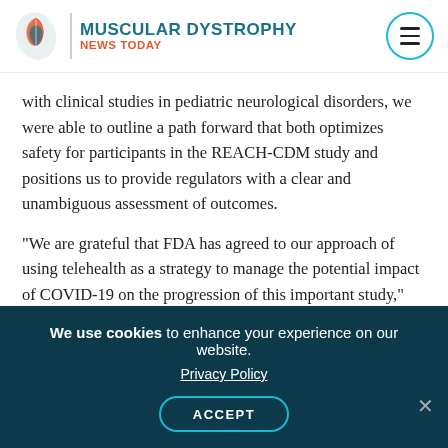MUSCULAR DYSTROPHY NEWS TODAY
with clinical studies in pediatric neurological disorders, we were able to outline a path forward that both optimizes safety for participants in the REACH-CDM study and positions us to provide regulators with a clear and unambiguous assessment of outcomes.
“We are grateful that FDA has agreed to our approach of using telehealth as a strategy to manage the potential impact of COVID-19 on the progression of this important study,” Horrigan added.
AMO-02 is an oral medication that blocks the
We use cookies to enhance your experience on our website. Privacy Policy ACCEPT